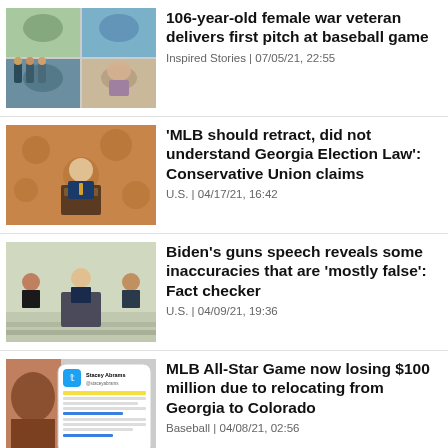[Figure (photo): Collage of 4 photos: baseball game, military personnel, elderly woman]
106-year-old female war veteran delivers first pitch at baseball game
Inspired Stories | 07/05/21, 22:55
[Figure (photo): Man in suit speaking at podium with CPAC branding]
‘MLB should retract, did not understand Georgia Election Law’: Conservative Union claims
U.S. | 04/17/21, 16:42
[Figure (photo): Biden at podium outdoors with two people standing behind him]
Biden’s guns speech reveals some inaccuracies that are ‘mostly false’: Fact checker
U.S. | 04/09/21, 19:36
[Figure (screenshot): Screenshot of Stacey Abrams tweet about MLB All-Star Game]
MLB All-Star Game now losing $100 million due to relocating from Georgia to Colorado
Baseball | 04/08/21, 02:56
[Figure (infographic): Social media sharing bar with icons for Pinterest, Facebook, Twitter, Telegram, WhatsApp, Reddit, Email, Share]